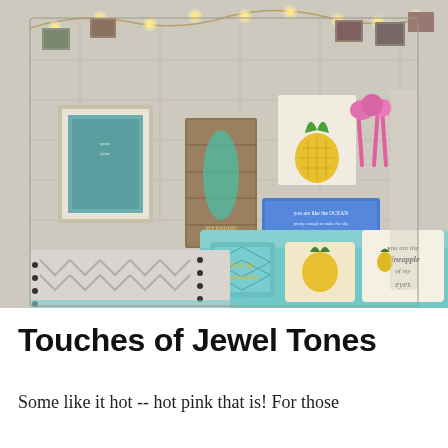[Figure (photo): A decorated dorm room with teal/aqua bedding and pillows (including mermaid and pineapple themed pillows), fairy lights with photos clipped along the top, and various wall decorations including a watermelon print, pineapple print, wood signs with inspirational quotes, and a blue ocean quote sign. White and gray chevron/arrow patterned bedspread on the left bed.]
Touches of Jewel Tones
Some like it hot -- hot pink that is! For those